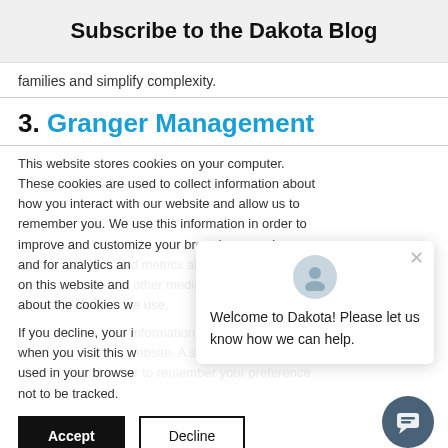Subscribe to the Dakota Blog
families and simplify complexity.
3. Granger Management
This website stores cookies on your computer. These cookies are used to collect information about how you interact with our website and allow us to remember you. We use this information in order to improve and customize your browsing experience and for analytics and metrics about our visitors both on this website and other media. To find out more about the cookies we use,
If you decline, your information won't be tracked when you visit this website. A single cookie will be used in your browser to remember your preference not to be tracked.
Welcome to Dakota! Please let us know how we can help.